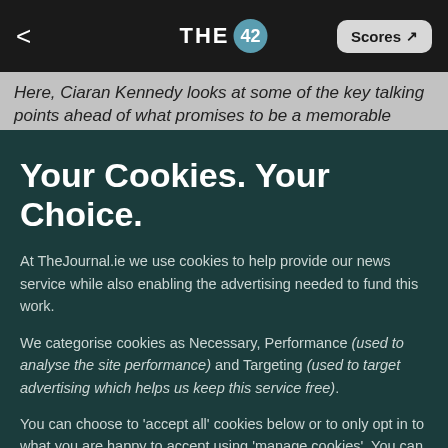THE 42 | Scores
Here, Ciaran Kennedy looks at some of the key talking points ahead of what promises to be a memorable
Your Cookies. Your Choice.
At TheJournal.ie we use cookies to help provide our news service while also enabling the advertising needed to fund this work.
We categorise cookies as Necessary, Performance (used to analyse the site performance) and Targeting (used to target advertising which helps us keep this service free).
You can choose to 'accept all' cookies below or to only opt in to what you are happy to accept using 'manage cookies'. You can also change your cookie settings at any time and learn more about how we use cookies in